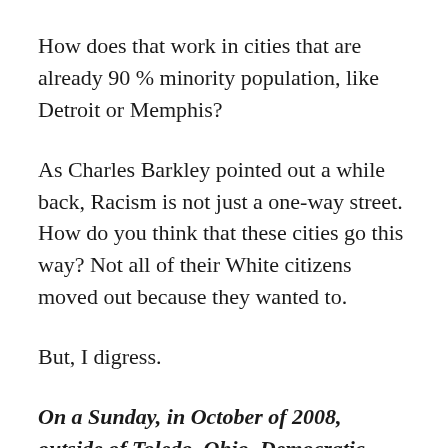How does that work in cities that are already 90 % minority population, like Detroit or Memphis?
As Charles Barkley pointed out a while back, Racism is not just a one-way street. How do you think that these cities go this way? Not all of their White citizens moved out because they wanted to.
But, I digress.
On a Sunday, in October of 2008, outside of Toledo, Ohio, Democratic Presidential Nominee Obama met a plumber named Joe Wurzelbacher. Joe, who owned his own plumbing company, dared to ask Obama